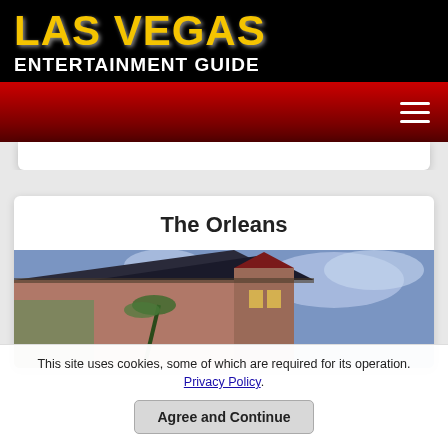LAS VEGAS ENTERTAINMENT GUIDE
Navigation menu
The Orleans
[Figure (photo): Exterior photo of The Orleans hotel and casino building at dusk with colorful architecture and blue sky]
This site uses cookies, some of which are required for its operation. Privacy Policy. Agree and Continue